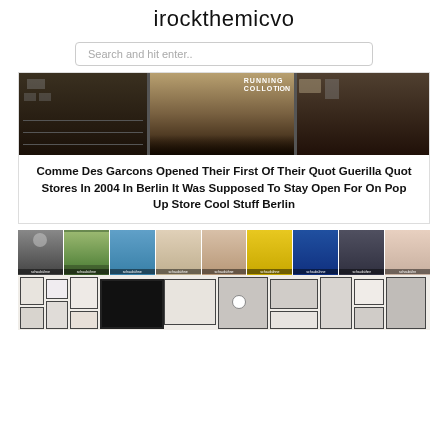irockthemicvo
Search and hit enter..
[Figure (photo): Store front window with signage reading RUNNING COLLECTION, dark interior visible through glass doors]
Comme Des Garcons Opened Their First Of Their Quot Guerilla Quot Stores In 2004 In Berlin It Was Supposed To Stay Open For On Pop Up Store Cool Stuff Berlin
[Figure (photo): Grid of Schaubühne magazine covers in top row, gallery wall with framed photos and artwork in bottom row]